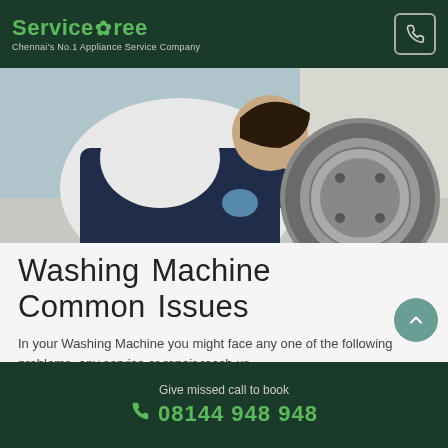ServiceTree — Chennai's No.1 Appliance Service Company
[Figure (photo): A technician in dark blue overalls leaning into a front-loading washing machine drum, performing a repair.]
Washing Machine Common Issues
In your Washing Machine you might face any one of the following problems, any service or repair reach us.
Won't Start
If a washer won't begin its cycle or isn't spinning properly, you may have merely overloaded it or didn't shut the door fully. Attempt taking some
Give missed call to book  08144 948 948